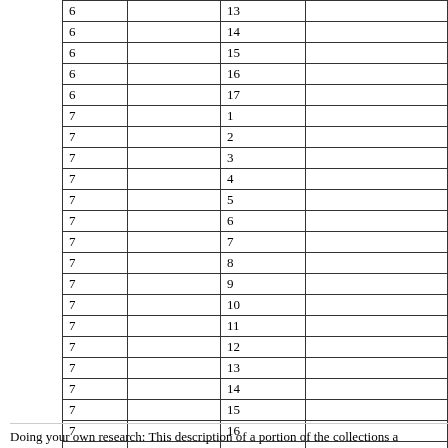|  |  |  |  |
| --- | --- | --- | --- |
| 6 |  | 13 |  |
| 6 |  | 14 |  |
| 6 |  | 15 |  |
| 6 |  | 16 |  |
| 6 |  | 17 |  |
| 7 |  | 1 |  |
| 7 |  | 2 |  |
| 7 |  | 3 |  |
| 7 |  | 4 |  |
| 7 |  | 5 |  |
| 7 |  | 6 |  |
| 7 |  | 7 |  |
| 7 |  | 8 |  |
| 7 |  | 9 |  |
| 7 |  | 10 |  |
| 7 |  | 11 |  |
| 7 |  | 12 |  |
| 7 |  | 13 |  |
| 7 |  | 14 |  |
| 7 |  | 15 |  |
| 7 |  | 16 |  |
| 7 |  | 17 |  |
| 7 |  | 18 |  |
| 7 |  | 19 |  |
Doing your own research: This description of a portion of the collections a